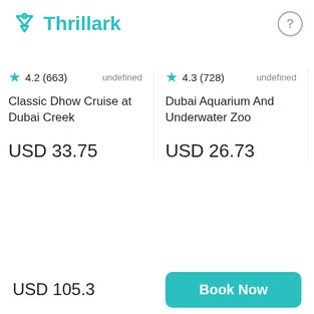Thrillark
4.2 (663)   undefined   4.3 (728)   undefined   4.2
Classic Dhow Cruise at Dubai Creek
USD 33.75
Dubai Aquarium And Underwater Zoo
USD 26.73
Duba Adven
USD
Home → Dubai → Dubai Tours → Royal Dinner Desert Experience
USD 105.3
Book Now